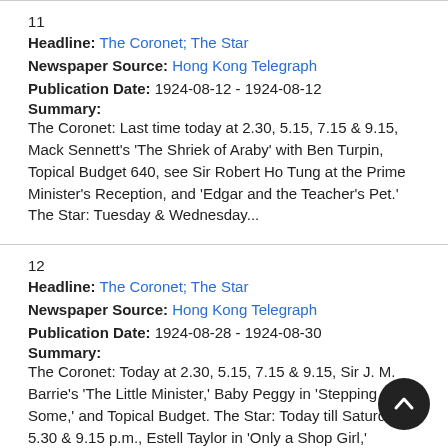11
Headline: The Coronet; The Star
Newspaper Source: Hong Kong Telegraph
Publication Date: 1924-08-12 - 1924-08-12
Summary:
The Coronet: Last time today at 2.30, 5.15, 7.15 & 9.15, Mack Sennett's 'The Shriek of Araby' with Ben Turpin, Topical Budget 640, see Sir Robert Ho Tung at the Prime Minister's Reception, and 'Edgar and the Teacher's Pet.' The Star: Tuesday & Wednesday...
12
Headline: The Coronet; The Star
Newspaper Source: Hong Kong Telegraph
Publication Date: 1924-08-28 - 1924-08-30
Summary:
The Coronet: Today at 2.30, 5.15, 7.15 & 9.15, Sir J. M. Barrie's 'The Little Minister,' Baby Peggy in 'Stepping Some,' and Topical Budget. The Star: Today till Saturday at 5.30 & 9.15 p.m., Estell Taylor in 'Only a Shop Girl,' supported by Wallace...